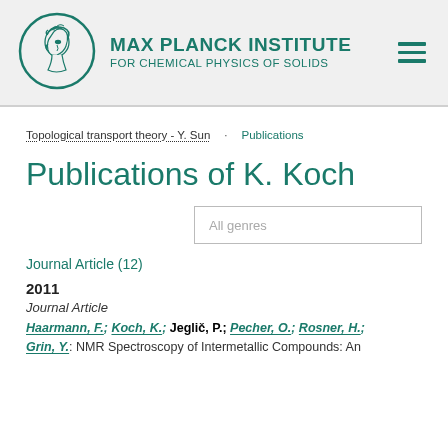[Figure (logo): Max Planck Institute logo — circular emblem with Minerva figure, teal/green color, with institute name 'MAX PLANCK INSTITUTE FOR CHEMICAL PHYSICS OF SOLIDS' to the right]
MAX PLANCK INSTITUTE FOR CHEMICAL PHYSICS OF SOLIDS
Topological transport theory - Y. Sun   Publications
Publications of K. Koch
All genres
Journal Article (12)
2011
Journal Article
Haarmann, F.; Koch, K.; Jeglič, P.; Pecher, O.; Rosner, H.; Grin, Y.: NMR Spectroscopy of Intermetallic Compounds: An